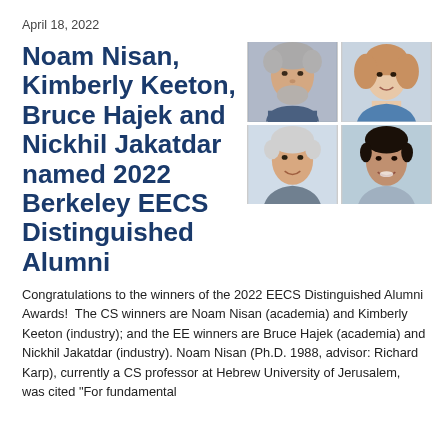April 18, 2022
Noam Nisan, Kimberly Keeton, Bruce Hajek and Nickhil Jakatdar named 2022 Berkeley EECS Distinguished Alumni
[Figure (photo): Four headshot photos in a 2x2 grid: top-left older man with gray curly hair and beard, top-right woman with curly hair smiling, bottom-left older man with silver hair smiling, bottom-right younger man with dark hair smiling.]
Congratulations to the winners of the 2022 EECS Distinguished Alumni Awards!  The CS winners are Noam Nisan (academia) and Kimberly Keeton (industry); and the EE winners are Bruce Hajek (academia) and Nickhil Jakatdar (industry). Noam Nisan (Ph.D. 1988, advisor: Richard Karp), currently a CS professor at Hebrew University of Jerusalem, was cited "For fundamental